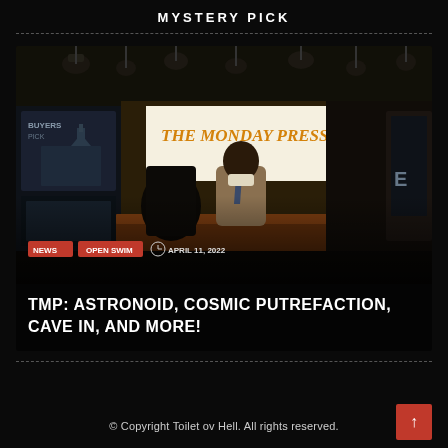MYSTERY PICK
[Figure (photo): News studio photo showing a presenter at a desk with 'The Monday Press' backdrop and Capitol building visible in the background. Dark moody lighting with studio lights overhead.]
NEWS  ,  OPEN SWIM    APRIL 11, 2022
TMP: ASTRONOID, COSMIC PUTREFACTION, CAVE IN, AND MORE!
© Copyright Toilet ov Hell. All rights reserved.